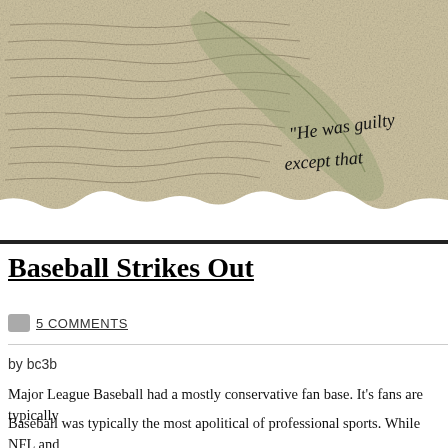[Figure (illustration): Aged handwritten manuscript document with a quill feather overlay. Partial italic handwritten text visible: "He was guilty" and "except that" in cursive script on a yellowed parchment-style background.]
Baseball Strikes Out
5 COMMENTS
by bc3b
Major League Baseball had a mostly conservative fan base. It’s fans are typically
Baseball was typically the most apolitical of professional sports. While NFL and about their business quietly making millions. Suddenly all that changed: